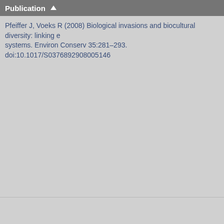Publication
Pfeiffer J, Voeks R (2008) Biological invasions and biocultural diversity: linking ecological and cultural systems. Environ Conserv 35:281–293. doi:10.1017/S0376892908005146
Philippe. 2017. Food forests are helping these Native American reservations eat
Photo Diary: A Week in Rural Alaska Where Climate Change Is Threatening a V